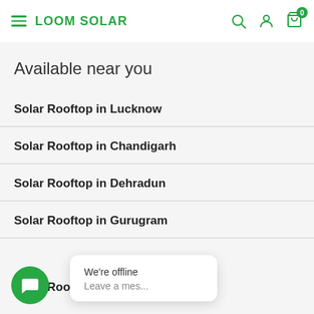LOOM SOLAR
Available near you
Solar Rooftop in Lucknow
Solar Rooftop in Chandigarh
Solar Rooftop in Dehradun
Solar Rooftop in Gurugram
Solar Rooftop in Chennai
We're offline
Leave a mes...